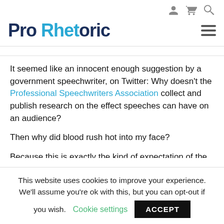Pro Rhetoric — navigation icons: user, cart, search, hamburger menu
It seemed like an innocent enough suggestion by a government speechwriter, on Twitter: Why doesn't the Professional Speechwriters Association collect and publish research on the effect speeches can have on an audience?
Then why did blood rush hot into my face?
Because this is exactly the kind of expectation of the
This website uses cookies to improve your experience. We'll assume you're ok with this, but you can opt-out if you wish. Cookie settings ACCEPT